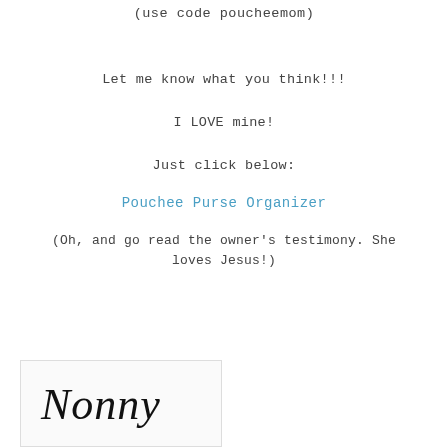(use code poucheemom)
Let me know what you think!!!

I LOVE mine!

Just click below:
Pouchee Purse Organizer
(Oh, and go read the owner's testimony. She loves Jesus!)
[Figure (illustration): Handwritten cursive signature reading 'Nonny' in decorative script, inside a light-bordered box]